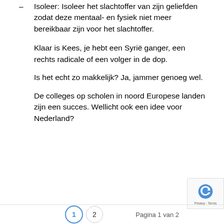Isoleer: Isoleer het slachtoffer van zijn geliefden zodat deze mentaal- en fysiek niet meer bereikbaar zijn voor het slachtoffer.
Klaar is Kees, je hebt een Syrië ganger, een rechts radicale of een volger in de dop.
Is het echt zo makkelijk? Ja, jammer genoeg wel.
De colleges op scholen in noord Europese landen zijn een succes. Wellicht ook een idee voor Nederland?
1  2  Pagina 1 van 2